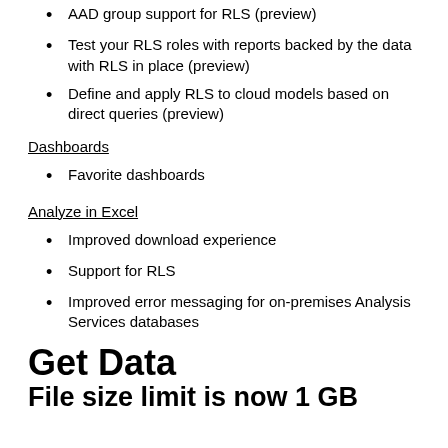AAD group support for RLS (preview)
Test your RLS roles with reports backed by the data with RLS in place (preview)
Define and apply RLS to cloud models based on direct queries (preview)
Dashboards
Favorite dashboards
Analyze in Excel
Improved download experience
Support for RLS
Improved error messaging for on-premises Analysis Services databases
Get Data
File size limit is now 1 GB